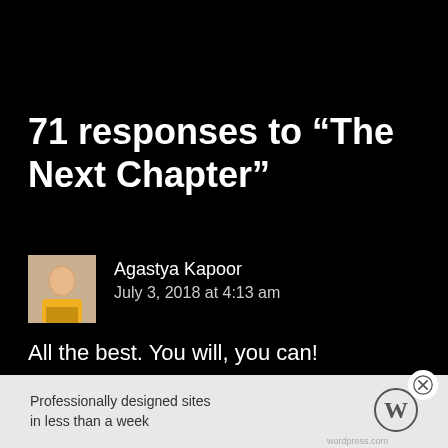71 responses to “The Next Chapter”
Agastya Kapoor
July 3, 2018 at 4:13 am
All the best. You will, you can!
Professionally designed sites in less than a week